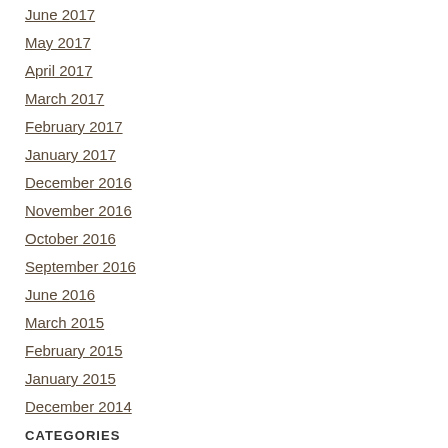June 2017
May 2017
April 2017
March 2017
February 2017
January 2017
December 2016
November 2016
October 2016
September 2016
June 2016
March 2015
February 2015
January 2015
December 2014
CATEGORIES